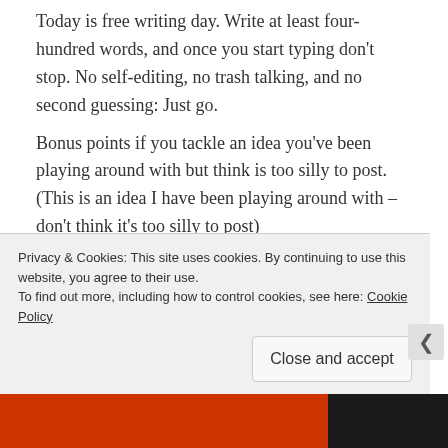Today is free writing day. Write at least four-hundred words, and once you start typing don't stop. No self-editing, no trash talking, and no second guessing: Just go. Bonus points if you tackle an idea you've been playing around with but think is too silly to post. (This is an idea I have been playing around with – don't think it's too silly to post)
It was Thursday I was miserably broke, walking the aisles of the supermarket looking for
Privacy & Cookies: This site uses cookies. By continuing to use this website, you agree to their use. To find out more, including how to control cookies, see here: Cookie Policy
Close and accept